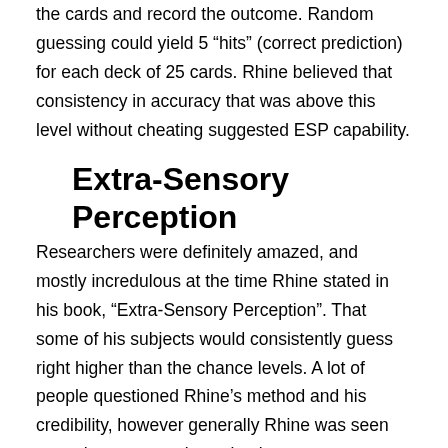the cards and record the outcome. Random guessing could yield 5 “hits” (correct prediction) for each deck of 25 cards. Rhine believed that consistency in accuracy that was above this level without cheating suggested ESP capability.
Extra-Sensory Perception
Researchers were definitely amazed, and mostly incredulous at the time Rhine stated in his book, “Extra-Sensory Perception”. That some of his subjects would consistently guess right higher than the chance levels. A lot of people questioned Rhine’s method and his credibility, however generally Rhine was seen as an honest, genuine scientist.